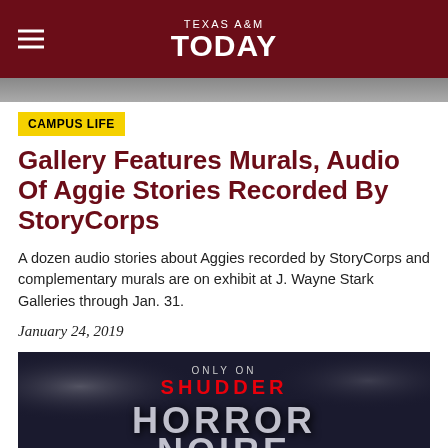TEXAS A&M TODAY
[Figure (photo): Partial image strip at top of article]
CAMPUS LIFE
Gallery Features Murals, Audio Of Aggie Stories Recorded By StoryCorps
A dozen audio stories about Aggies recorded by StoryCorps and complementary murals are on exhibit at J. Wayne Stark Galleries through Jan. 31.
January 24, 2019
[Figure (photo): Horror Noire promotional image showing 'ONLY ON SHUDDER' and 'HORROR NOIRE' title text on dark moody background]